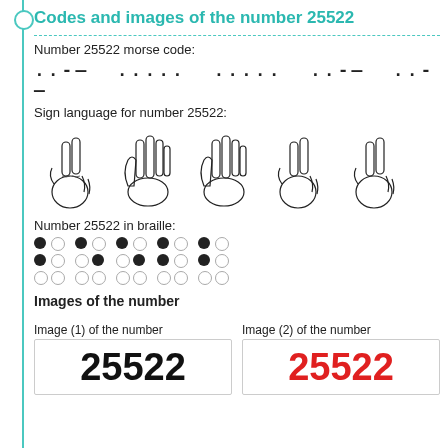Codes and images of the number 25522
Number 25522 morse code:
..-— ..... ..... ..-— ..-—
Sign language for number 25522:
[Figure (illustration): Five hand signs showing sign language digits for 2, 5, 5, 2, 2]
Number 25522 in braille:
[Figure (illustration): Braille dots for digits 2, 5, 5, 2, 2 shown as filled and empty circles in a 2x3 grid per digit]
Images of the number
Image (1) of the number
Image (2) of the number
[Figure (illustration): Number 25522 rendered in large bold black digits]
[Figure (illustration): Number 25522 rendered in large bold red digits]